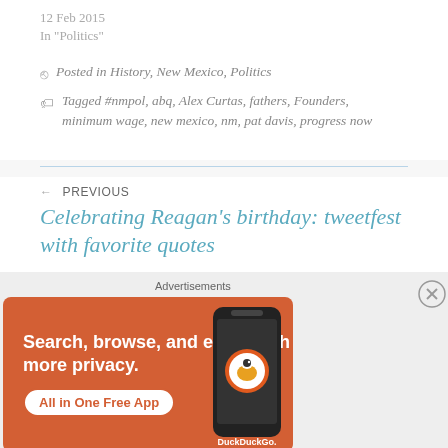12 Feb 2015
In "Politics"
Posted in History, New Mexico, Politics
Tagged #nmpol, abq, Alex Curtas, fathers, Founders, minimum wage, new mexico, nm, pat davis, progress now
PREVIOUS
Celebrating Reagan's birthday: tweetfest with favorite quotes
[Figure (illustration): DuckDuckGo advertisement banner on orange background. Text reads: Search, browse, and email with more privacy. All in One Free App. Features DuckDuckGo logo and a phone graphic.]